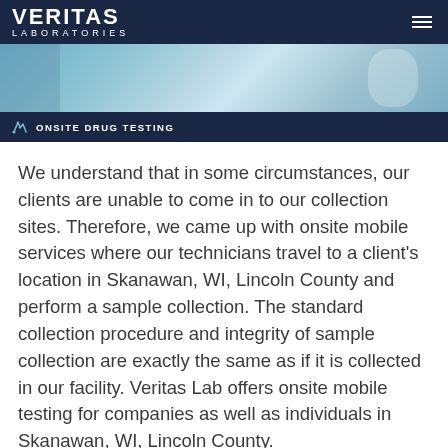VERITAS LABORATORIES
[Figure (photo): Laboratory scene with scientist in white coat holding blue liquid test tubes]
ONSITE DRUG TESTING
We understand that in some circumstances, our clients are unable to come in to our collection sites. Therefore, we came up with onsite mobile services where our technicians travel to a client's location in Skanawan, WI, Lincoln County and perform a sample collection. The standard collection procedure and integrity of sample collection are exactly the same as if it is collected in our facility. Veritas Lab offers onsite mobile testing for companies as well as individuals in Skanawan, WI, Lincoln County.